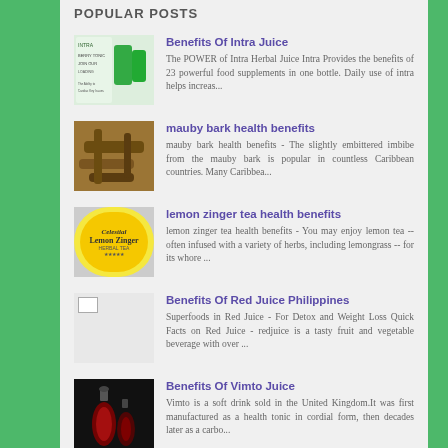POPULAR POSTS
Benefits Of Intra Juice
The POWER of Intra Herbal Juice Intra Provides the benefits of 23 powerful food supplements in one bottle. Daily use of intra helps increas...
mauby bark health benefits
mauby bark health benefits - The slightly embittered imbibe from the mauby bark is popular in countless Caribbean countries. Many Caribbea...
lemon zinger tea health benefits
lemon zinger tea health benefits - You may enjoy lemon tea -- often infused with a variety of herbs, including lemongrass -- for its whore ...
Benefits Of Red Juice Philippines
Superfoods in Red Juice - For Detox and Weight Loss Quick Facts on Red Juice - redjuice is a tasty fruit and vegetable beverage with over ...
Benefits Of Vimto Juice
Vimto is a soft drink sold in the United Kingdom.It was first manufactured as a health tonic in cordial form, then decades later as a carbo...